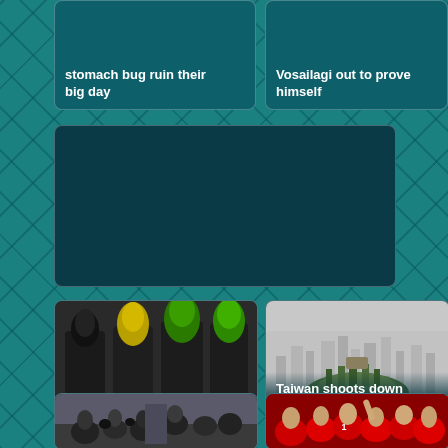stomach bug ruin their big day
Vosailagi out to prove himself
[Figure (other): Dark teal/navy rectangular placeholder image area]
[Figure (photo): Photo of colorful petrol pump nozzles (yellow, green) at a petrol station]
High petrol prices to remain
[Figure (photo): Photo of a small rocky island in foggy water with city skyline in background]
Taiwan shoots down unidentified drone over island near China
[Figure (photo): Photo of press conference with cameras and journalists]
[Figure (photo): Photo of rugby players in red jerseys celebrating]